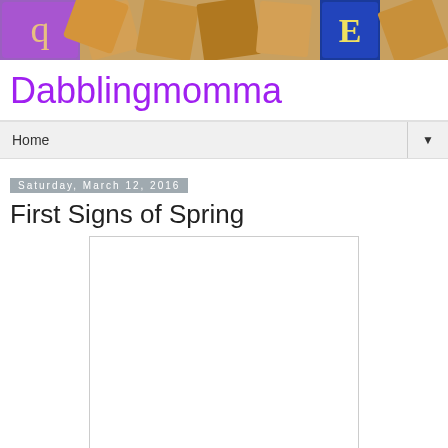[Figure (photo): Colorful wooden alphabet blocks scattered in a pile as a decorative blog header image]
Dabblingmomma
Home ▼
Saturday, March 12, 2016
First Signs of Spring
[Figure (photo): Blank/white image placeholder for a spring-themed photo]
This is such a wonderful time of the year.  As the long cold